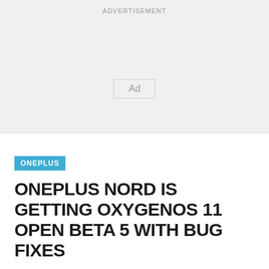ADVERTISEMENT
[Figure (other): Advertisement placeholder box with 'Ad' label]
ONEPLUS
ONEPLUS NORD IS GETTING OXYGENOS 11 OPEN BETA 5 WITH BUG FIXES
MARCO LANCASTER   APRIL 29, 2021
While the owners of the OnePlus 6 and 6T will have to wait until August (or even September) for the very first OxygenOS 11...